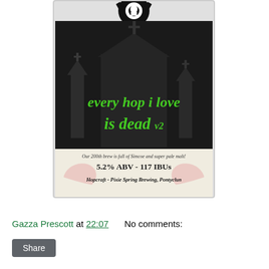[Figure (illustration): Beer pump clip label for 'every hop i love is dead v2' by Hopcraft / Pixie Spring Brewing, Pontyclun. Black background with spooky church silhouette and green gothic text. Bottom section shows: Our 200th brew is full of Simcoe and super pale malt! 5.2% ABV - 117 IBUs. Hopcraft - Pixie Spring Brewing, Pontyclun.]
Gazza Prescott at 22:07     No comments:
Share